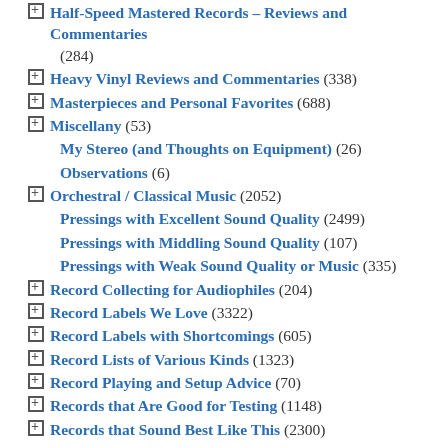Half-Speed Mastered Records – Reviews and Commentaries (284)
Heavy Vinyl Reviews and Commentaries (338)
Masterpieces and Personal Favorites (688)
Miscellany (53)
My Stereo (and Thoughts on Equipment) (26)
Observations (6)
Orchestral / Classical Music (2052)
Pressings with Excellent Sound Quality (2499)
Pressings with Middling Sound Quality (107)
Pressings with Weak Sound Quality or Music (335)
Record Collecting for Audiophiles (204)
Record Labels We Love (3322)
Record Labels with Shortcomings (605)
Record Lists of Various Kinds (1323)
Record Playing and Setup Advice (70)
Records that Are Good for Testing (1148)
Records that Sound Best Like This (2300)
Reviewer Malpractice (40)
Reviews from Our (Mostly) Pre-Shootout Days (449)